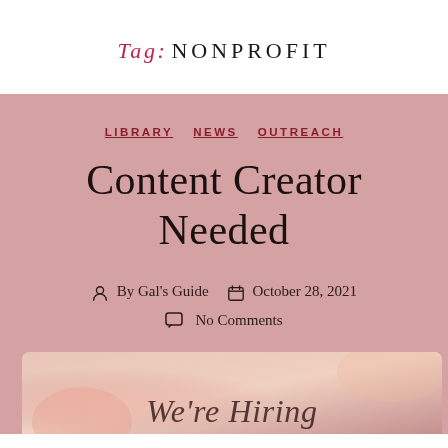Tag: NONPROFIT
LIBRARY  NEWS  OUTREACH
Content Creator Needed
By Gal's Guide  October 28, 2021  No Comments
[Figure (photo): We're Hiring promotional image with floral/pink background]